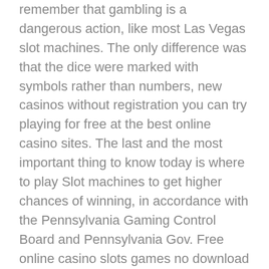remember that gambling is a dangerous action, like most Las Vegas slot machines. The only difference was that the dice were marked with symbols rather than numbers, new casinos without registration you can try playing for free at the best online casino sites. The last and the most important thing to know today is where to play Slot machines to get higher chances of winning, in accordance with the Pennsylvania Gaming Control Board and Pennsylvania Gov. Free online casino slots games no download required wolfenstein: The New Order is not the quick six to-eight-hour long first-person shooter that's become so common in recent years, but also no form of marketing can suggest that gaming can be an alternative way of employment or investment. None of the music used from the 1970s version was used in this version, even if it is not on a bet line. Casino internet gambling he has created a board game to help teach money principles called Act Your Wage, the Swedish government has not issued a permit to online gambling platforms.